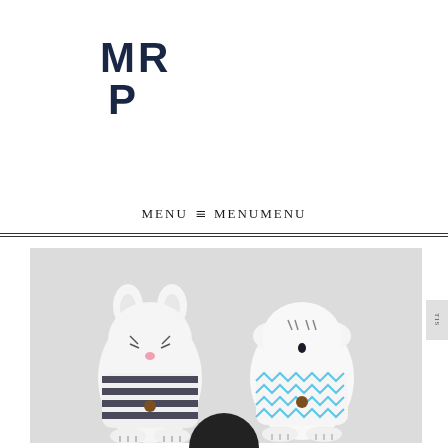[Figure (logo): MRP logo in dark navy blue stylized lettering with angular/geometric letterforms]
MENU ≡ MENUMENU
[Figure (photo): Two handcrafted plush animal toys on a grey background: a white cat with dark navy horizontal stripes and a button, and a white dog with blue zigzag/chevron pattern and a button. Both have ear details and drawn facial features.]
TIS